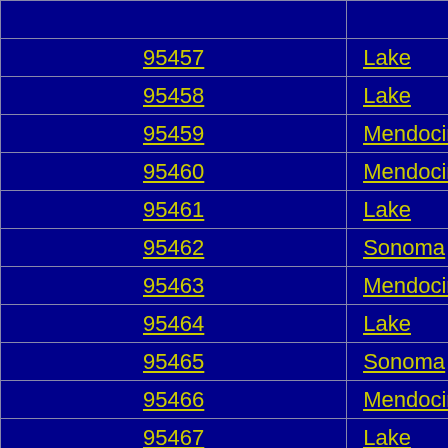| ZIP Code | County |
| --- | --- |
| 95457 | Lake |
| 95458 | Lake |
| 95459 | Mendocino |
| 95460 | Mendocino |
| 95461 | Lake |
| 95462 | Sonoma |
| 95463 | Mendocino |
| 95464 | Lake |
| 95465 | Sonoma |
| 95466 | Mendocino |
| 95467 | Lake |
| 95468 | Mendocino |
| 95469 | Mendocino |
| 95470 | Mendocino |
| 95471 | Sonoma |